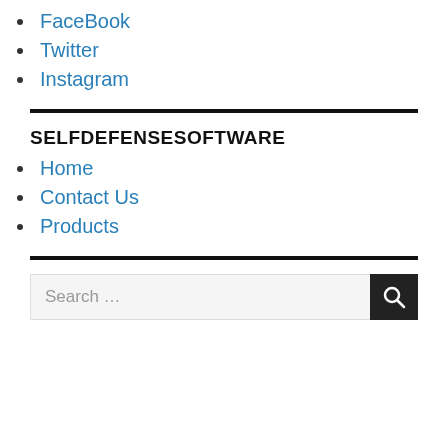FaceBook
Twitter
Instagram
SELFDEFENSESOFTWARE
Home
Contact Us
Products